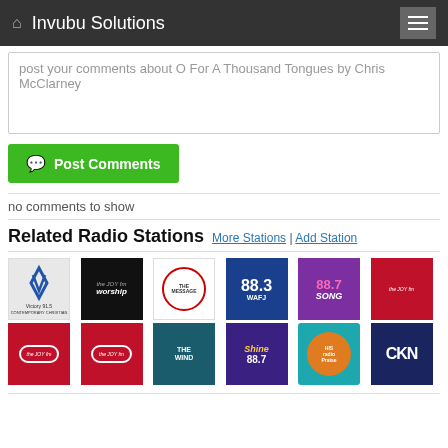Invubu Solutions
post your comments about O For A Thousand Tongues by Chris McClarney
Post Comments
no comments to show
Related Radio Stations  More Stations | Add Station
[Figure (other): Grid of 12 radio station logos including Victory 91.5, Joy Worship, The Message, 88.3 WAFJ, 88.7 Song, The Joy fm, The Joy fm (red, x2), The Wind, Shine 88.7, His Radio Praise, CKN]